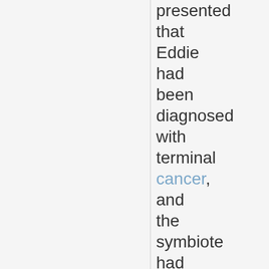presented that Eddie had been diagnosed with terminal cancer, and the symbiote had chosen him as